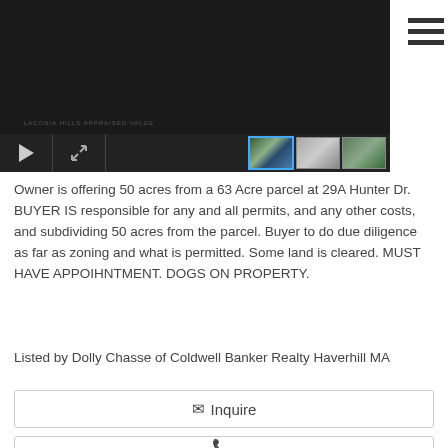[Figure (screenshot): Dark real estate property photo/video player with play button, expand button, and three thumbnail images at bottom right. Three horizontal menu lines visible at top right.]
Owner is offering 50 acres from a 63 Acre parcel at 29A Hunter Dr. BUYER IS responsible for any and all permits, and any other costs, and subdividing 50 acres from the parcel. Buyer to do due diligence as far as zoning and what is permitted. Some land is cleared. MUST HAVE APPOIHNTMENT. DOGS ON PROPERTY.
Listed by Dolly Chasse of Coldwell Banker Realty Haverhill MA
✉ Inquire